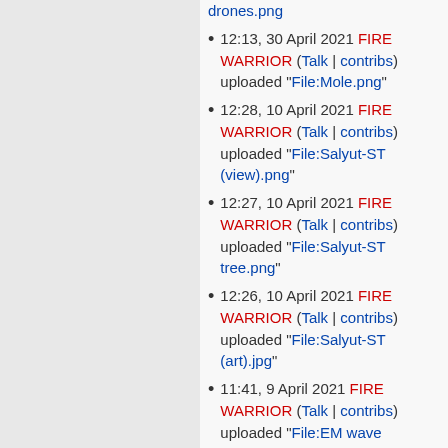drones.png
12:13, 30 April 2021 FIRE WARRIOR (Talk | contribs) uploaded "File:Mole.png"
12:28, 10 April 2021 FIRE WARRIOR (Talk | contribs) uploaded "File:Salyut-ST (view).png"
12:27, 10 April 2021 FIRE WARRIOR (Talk | contribs) uploaded "File:Salyut-ST tree.png"
12:26, 10 April 2021 FIRE WARRIOR (Talk | contribs) uploaded "File:Salyut-ST (art).jpg"
11:41, 9 April 2021 FIRE WARRIOR (Talk | contribs) uploaded "File:EM wave generator "Love".png"
11:41, 9 April 2021 FIRE WARRIOR (Talk | contribs)